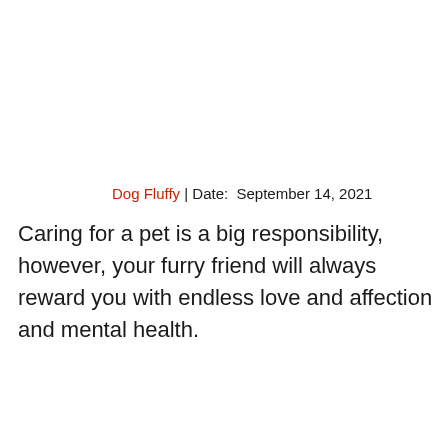Dog Fluffy | Date: September 14, 2021
Caring for a pet is a big responsibility, however, your furry friend will always reward you with endless love and affection and mental health.